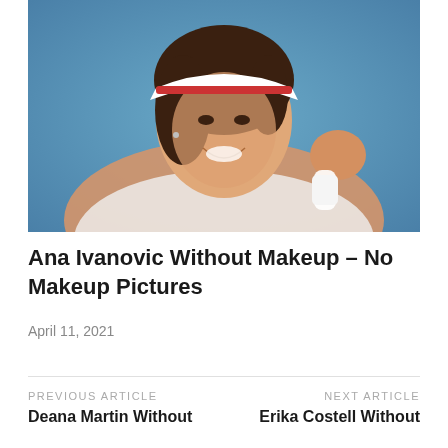[Figure (photo): Photo of Ana Ivanovic smiling and raising her fist, wearing a white visor with red trim, outdoors with a blue background]
Ana Ivanovic Without Makeup – No Makeup Pictures
April 11, 2021
PREVIOUS ARTICLE
Deana Martin Without Makeup – No Makeup...
NEXT ARTICLE
Erika Costell Without Makeup – No Makeup...